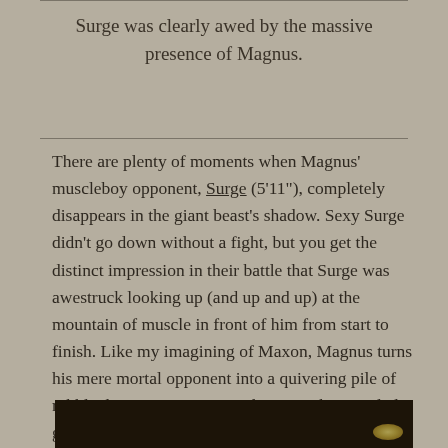Surge was clearly awed by the massive presence of Magnus.
There are plenty of moments when Magnus' muscleboy opponent, Surge (5'11"), completely disappears in the giant beast's shadow. Sexy Surge didn't go down without a fight, but you get the distinct impression in their battle that Surge was awestruck looking up (and up and up) at the mountain of muscle in front of him from start to finish. Like my imagining of Maxon, Magnus turns his mere mortal opponent into a quivering pile of rubble desperate to serve and service the muscled god who pins his face to the mat with his beer can (a 40 ouncer) cock.
[Figure (photo): Partial photo of two wrestlers/fighters visible at bottom of page, dark background with a light source visible]